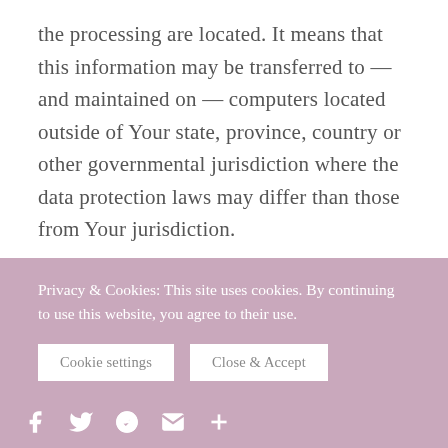the processing are located. It means that this information may be transferred to — and maintained on — computers located outside of Your state, province, country or other governmental jurisdiction where the data protection laws may differ than those from Your jurisdiction.

Your consent to this Privacy Policy followed by
Privacy & Cookies: This site uses cookies. By continuing to use this website, you agree to their use.
Cookie settings   Close & Accept